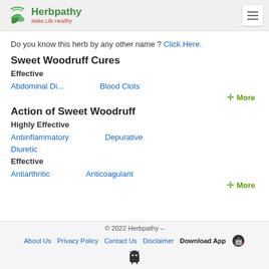[Figure (logo): Herbpathy logo with green leaf icon and tagline Make Life Healthy]
Do you know this herb by any other name ? Click Here.
Sweet Woodruff Cures
Effective
Abdominal Di...
Blood Clots
+ More
Action of Sweet Woodruff
Highly Effective
Antiinflammatory
Depurative
Diuretic
Effective
Antiarthritic
Anticoagulant
+ More
© 2022 Herbpathy – About Us  Privacy Policy  Contact Us  Disclaimer  Download App